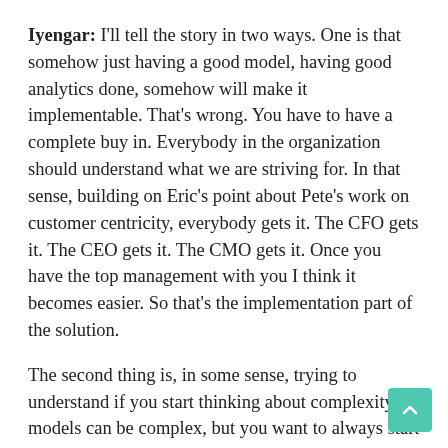Iyengar: I'll tell the story in two ways. One is that somehow just having a good model, having good analytics done, somehow will make it implementable. That's wrong. You have to have a complete buy in. Everybody in the organization should understand what we are striving for. In that sense, building on Eric's point about Pete's work on customer centricity, everybody gets it. The CFO gets it. The CEO gets it. The CMO gets it. Once you have the top management with you I think it becomes easier. So that's the implementation part of the solution.
The second thing is, in some sense, trying to understand if you start thinking about complexity, models can be complex, but you want to always start with a business problem. I think it's becoming increasingly easy for many of us, when you have a conversation with companies, to start with a business problem, but that's something we've seen all along, which is many times they get so involved in the problem itself or the solution that they don't understand